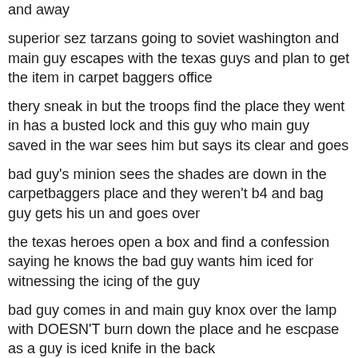and away
superior sez tarzans going to soviet washington and main guy escapes with the texas guys and plan to get the item in carpet baggers office
thery sneak in but the troops find the place they went in has a busted lock and this guy who main guy saved in the war sees him but says its clear and goes
bad guy's minion sees the shades are down in the carpetbaggers place and they weren't b4 and bag guy gets his un and goes over
the texas heroes open a box and find a confession saying he knows the bad guy wants him iced for witnessing the icing of the guy
bad guy comes in and main guy knox over the lamp with DOESN'T burn down the place and he escpase as a guy is iced knife in the back
main guy also got out by busting through a window like he's